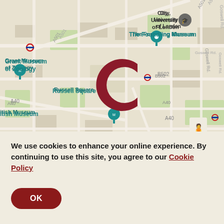[Figure (map): Google Map of central London showing museum locations including The Foundling Museum, The Postal Museum, Grant Museum of Zoology, Charles Dickens Museum, Russell Square, British Museum, Cartoon Museum, Sir John Soane's Museum, Royal Opera House, Smithfield Market, Museum of London, St. Paul's Cathedral, and a large dark red C-shaped location marker in the center.]
We use cookies to enhance your online experience. By continuing to use this site, you agree to our Cookie Policy
OK